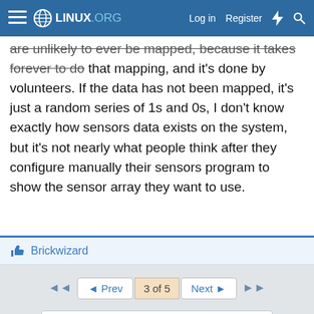LINUX.ORG — Log in  Register
are unlikely to ever be mapped, because it takes forever to do that mapping, and it's done by volunteers. If the data has not been mapped, it's just a random series of 1s and 0s, I don't know exactly how sensors data exists on the system, but it's not nearly what people think after they configure manually their sensors program to show the sensor array they want to use.
Brickwizard
◄◄   ◄ Prev   3 of 5   Next ►   ►►
You must log in or register to reply here.
Share:
$100 Digital Ocean Credit
Get a free VM to test out Linux!
Linux.org Hosting Donations